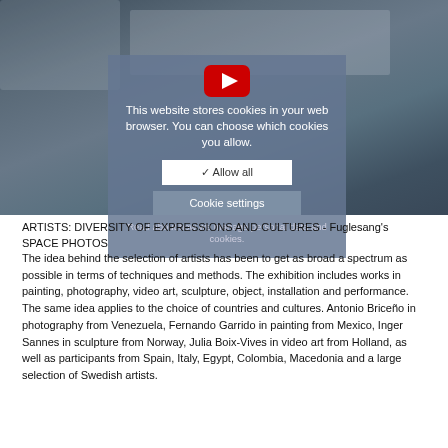[Figure (photo): Photo of students in a classroom/library setting, partially obscured by a cookie consent overlay panel with YouTube icon, 'Allow all' button, 'Cookie settings' button, and a link to manage personal data and cookies.]
ARTISTS: DIVERSITY OF EXPRESSIONS AND CULTURES - Fuglesang's SPACE PHOTOS
The idea behind the selection of artists has been to get as broad a spectrum as possible in terms of techniques and methods. The exhibition includes works in painting, photography, video art, sculpture, object, installation and performance. The same idea applies to the choice of countries and cultures. Antonio Briceño in photography from Venezuela, Fernando Garrido in painting from Mexico, Inger Sannes in sculpture from Norway, Julia Boix-Vives in video art from Holland, as well as participants from Spain, Italy, Egypt, Colombia, Macedonia and a large selection of Swedish artists.